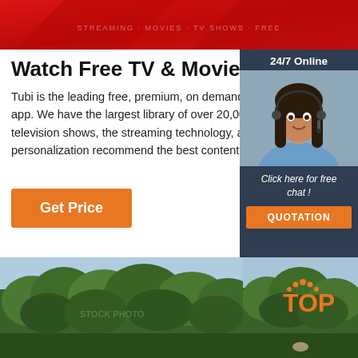[Figure (photo): Red umbrella / banner image at top of page]
Watch Free TV & Movies Online
Tubi is the leading free, premium, on demand streaming app. We have the largest library of over 20,000 movies and television shows, the streaming technology, and a personalization recommend the best content for you.
[Figure (infographic): 24/7 Online chat widget sidebar with female customer service agent wearing headset, 'Click here for free chat!' text, and QUOTATION orange button]
Get Price
[Figure (photo): Two side-by-side nature/forest photos at bottom of page; right image has orange TOP logo text overlay]